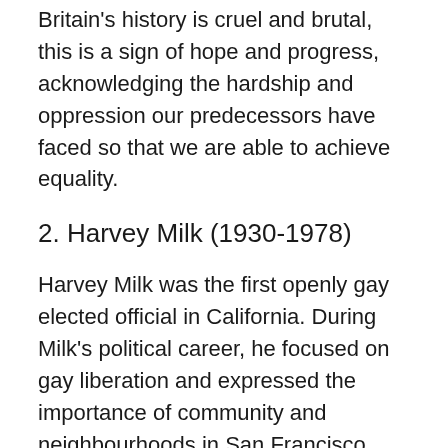Britain's history is cruel and brutal, this is a sign of hope and progress, acknowledging the hardship and oppression our predecessors have faced so that we are able to achieve equality.
2. Harvey Milk (1930-1978)
Harvey Milk was the first openly gay elected official in California. During Milk's political career, he focused on gay liberation and expressed the importance of community and neighbourhoods in San Francisco. Milk fought for gay rights during a time when the LGBTQIA+ community were facing attacks against their human rights. For example, Milk fought